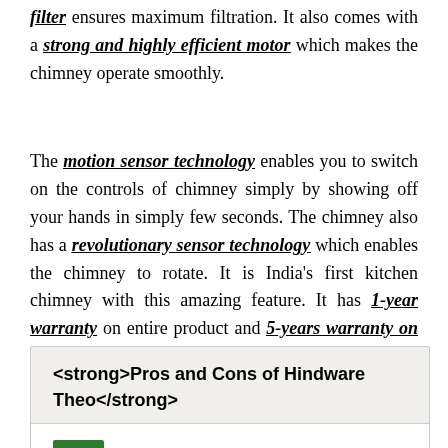filter ensures maximum filtration. It also comes with a strong and highly efficient motor which makes the chimney operate smoothly.
The motion sensor technology enables you to switch on the controls of chimney simply by showing off your hands in simply few seconds. The chimney also has a revolutionary sensor technology which enables the chimney to rotate. It is India's first kitchen chimney with this amazing feature. It has 1-year warranty on entire product and 5-years warranty on the motor.
| <strong>Pros and Cons of Hindware Theo</strong> |
| --- |
| Pros |